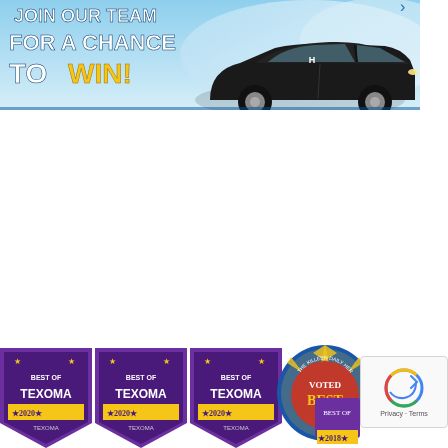[Figure (illustration): Promotional banner with blue sky background. Text reads 'JOIN OUR TEAM FOR A CHANCE TO WIN!' in white and yellow bold letters. A black Honda Civic sedan is shown on the right side of the banner.]
[Figure (illustration): Three 'Best of Texoma 2020' award badges in purple and gold, a 'Voted Best' McKinney Daily Herald circular badge in red/blue/yellow, and a partially visible '2018' award badge. A Google reCAPTCHA widget is visible in the bottom-right corner.]